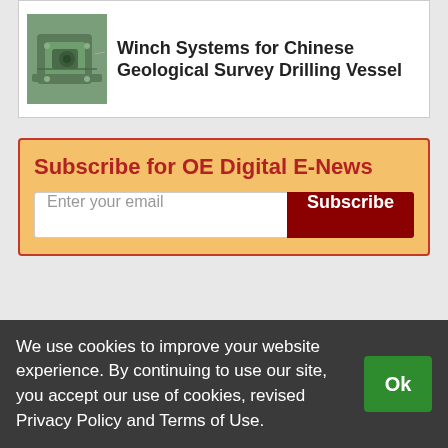[Figure (photo): Small mechanical component (green/metal gear or coupling device) shown at top-left of card]
Winch Systems for Chinese Geological Survey Drilling Vessel
Subscribe for OE Digital E-News
Enter your email
Subscribe
We use cookies to improve your website experience. By continuing to use our site, you accept our use of cookies, revised Privacy Policy and Terms of Use.
Ok